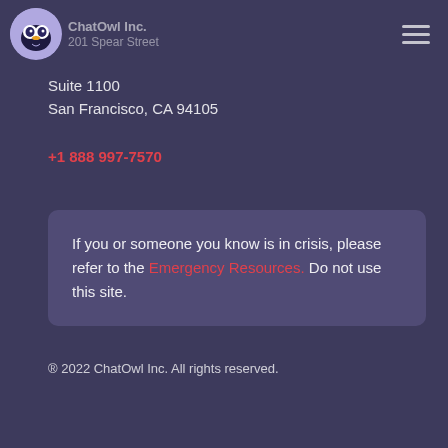ChatOwl Inc. 201 Spear Street
Suite 1100
San Francisco, CA 94105
+1 888 997-7570
If you or someone you know is in crisis, please refer to the Emergency Resources. Do not use this site.
® 2022 ChatOwl Inc. All rights reserved.